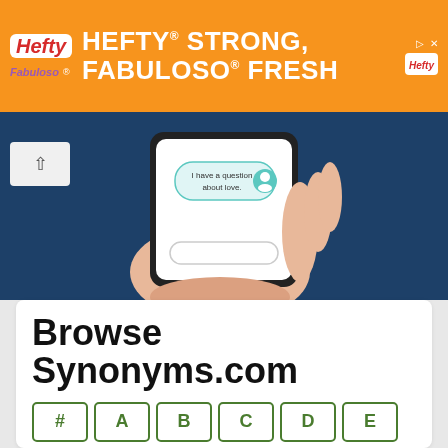[Figure (illustration): Hefty brand advertisement banner with orange background. Text reads 'HEFTY STRONG, FABULOSO FRESH' with Hefty and Fabuloso logos on the left and a product image on the right.]
[Figure (illustration): Illustration of a hand holding a smartphone with a chat interface showing 'I have a question about love.' on a dark blue background.]
Browse Synonyms.com
#
A
B
C
D
E
F
G
H
I
J
K